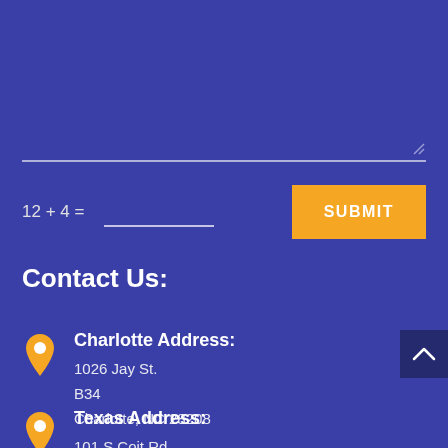[Figure (screenshot): A textarea/text input field with a resize handle at bottom-right, on a dark blue background]
12 + 4 =
[Figure (screenshot): A CAPTCHA math challenge input field (underline style) and an orange SUBMIT button]
Contact Us:
Charlotte Address:
1026 Jay St.
B34
Charlotte, NC 28208
Texas Address:
101 S Coit Rd.